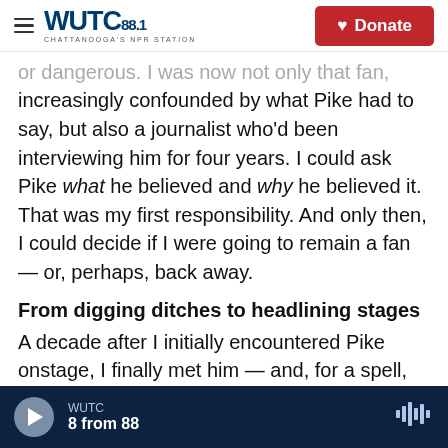WUTC 88.1 Chattanooga's NPR Station | Donate
or dangerous. I was now not only that fan, increasingly confounded by what Pike had to say, but also a journalist who'd been interviewing him for four years. I could ask Pike what he believed and why he believed it. That was my first responsibility. And only then, I could decide if I were going to remain a fan — or, perhaps, back away.
From digging ditches to headlining stages
A decade after I initially encountered Pike onstage, I finally met him — and, for a spell, shadowed and interviewed him on tour for several days — at the
WUTC | 8 from 88